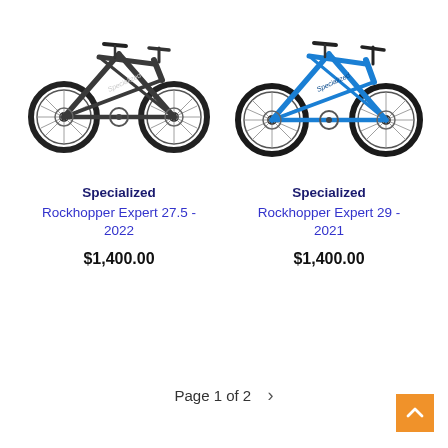[Figure (photo): Specialized Rockhopper Expert 27.5 2022 mountain bike in dark gray/charcoal color, side view facing left]
[Figure (photo): Specialized Rockhopper Expert 29 2021 mountain bike in bright blue color, side view facing left]
Specialized
Rockhopper Expert 27.5 - 2022
$1,400.00
Specialized
Rockhopper Expert 29 - 2021
$1,400.00
Page 1 of 2  >